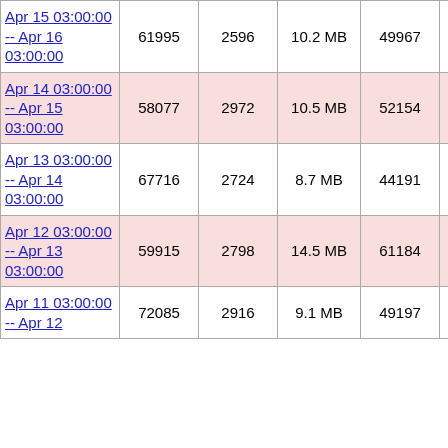| Date | Col2 | Col3 | Size | Col5 | Col6 | Col7 |
| --- | --- | --- | --- | --- | --- | --- |
| Apr 15 03:00:00 -- Apr 16 03:00:00 | 61995 | 2596 | 10.2 MB | 49967 | 8636 |  |
| Apr 14 03:00:00 -- Apr 15 03:00:00 | 58077 | 2972 | 10.5 MB | 52154 | 6915 |  |
| Apr 13 03:00:00 -- Apr 14 03:00:00 | 67716 | 2724 | 8.7 MB | 44191 | 7056 |  |
| Apr 12 03:00:00 -- Apr 13 03:00:00 | 59915 | 2798 | 14.5 MB | 61184 | 7015 |  |
| Apr 11 03:00:00 -- Apr 12 | 72085 | 2916 | 9.1 MB | 49197 | 8100 |  |